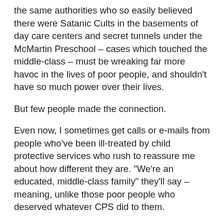the same authorities who so easily believed there were Satanic Cults in the basements of day care centers and secret tunnels under the McMartin Preschool – cases which touched the middle-class – must be wreaking far more havoc in the lives of poor people, and shouldn't have so much power over their lives.
But few people made the connection.
Even now, I sometimes get calls or e-mails from people who've been ill-treated by child protective services who rush to reassure me about how different they are. "We're an educated, middle-class family" they'll say – meaning, unlike those poor people who deserved whatever CPS did to them.
Perhaps it takes someone who has had some kind of personal experience with both kinds of affront can break down those barriers.
Someone like Chris Gottlieb. She co-directs (with NCCPR's President, Martin Guggenheim) the Family Defense Clinic at the New York University School of Law. She wrote a guest